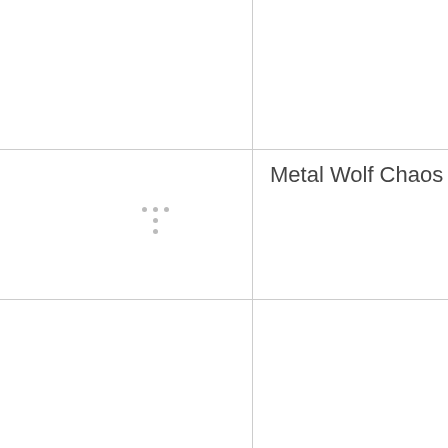Metal Wolf Chaos XD
Crystal Crisis
Brigador: Up-Armored Edition